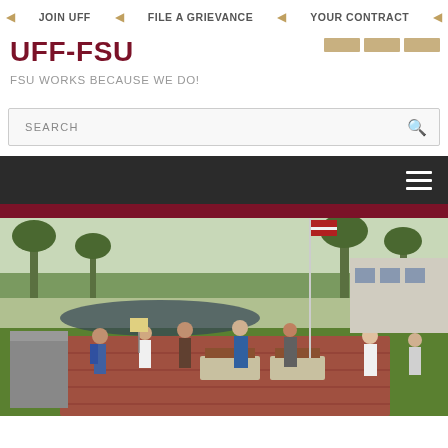JOIN UFF   FILE A GRIEVANCE   YOUR CONTRACT
UFF-FSU
FSU WORKS BECAUSE WE DO!
SEARCH
[Figure (photo): Outdoor rally/protest scene with crowd of people gathered on a brick plaza surrounded by trees and grass, some holding signs and an American flag.]